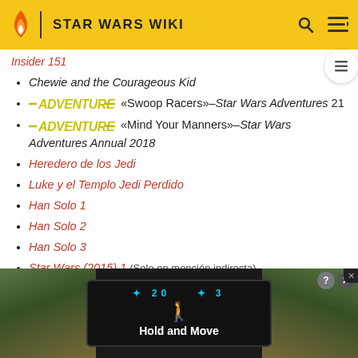STAR WARS WIKI
Insider 151
Chewie and the Courageous Kid
—ADVENTURES— «Swoop Racers»–Star Wars Adventures 21
—ADVENTURES— «Mind Your Manners»–Star Wars Adventures Annual 2018
Heredero de los Jedi
Luke y el Templo Jedi Perdido
Han Solo 1
Han Solo 2
Han Solo 3
Star Wars (2015) 1 (Solo en mención indirecta)
[Figure (screenshot): Advertisement banner at bottom showing 'Hold and Move' game ad with blue neon UI elements on dark background]